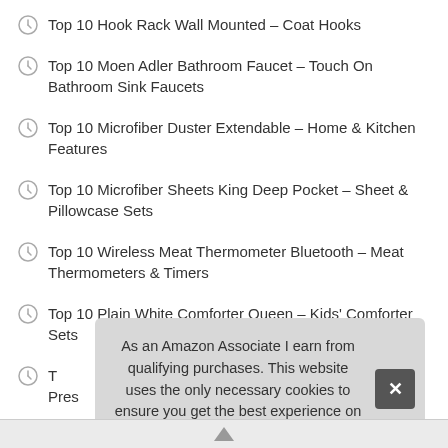Top 10 Hook Rack Wall Mounted – Coat Hooks
Top 10 Moen Adler Bathroom Faucet – Touch On Bathroom Sink Faucets
Top 10 Microfiber Duster Extendable – Home & Kitchen Features
Top 10 Microfiber Sheets King Deep Pocket – Sheet & Pillowcase Sets
Top 10 Wireless Meat Thermometer Bluetooth – Meat Thermometers & Timers
Top 10 Plain White Comforter Queen – Kids' Comforter Sets
T... Pres...
As an Amazon Associate I earn from qualifying purchases. This website uses the only necessary cookies to ensure you get the best experience on our website. More information